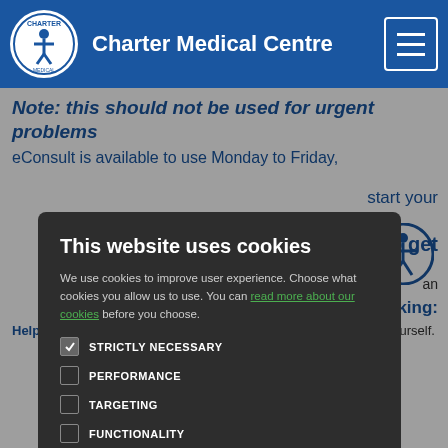Charter Medical Centre
Note: this should not be used for urgent problems
eConsult is available to use Monday to Friday,
[Figure (screenshot): Cookie consent modal overlay with title 'This website uses cookies', body text about cookies, checkboxes for STRICTLY NECESSARY, PERFORMANCE, TARGETING, FUNCTIONALITY, and two buttons ACCEPT ALL and DECLINE ALL]
start your
ble to get
an
re booking:
Help and Advice – advice and information to help you look after yourself.